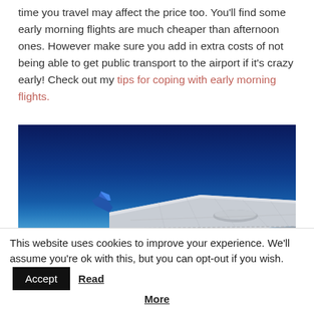time you travel may affect the price too. You'll find some early morning flights are much cheaper than afternoon ones. However make sure you add in extra costs of not being able to get public transport to the airport if it's crazy early! Check out my tips for coping with early morning flights.
[Figure (photo): Airplane wing viewed from cabin window against a deep blue sky, with blue gradient from dark navy at top to lighter blue near horizon]
This website uses cookies to improve your experience. We'll assume you're ok with this, but you can opt-out if you wish. Accept Read More